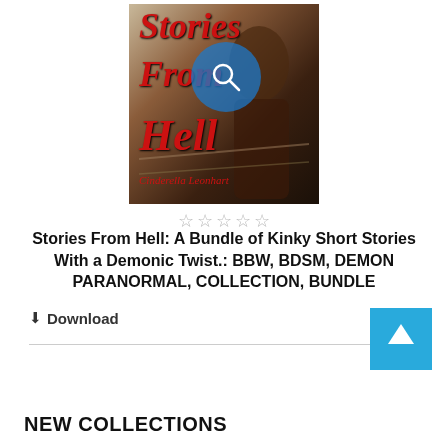[Figure (illustration): Book cover for 'Stories From Hell' with red italic script title text on a dark background featuring a shirtless figure, with a blue magnifying glass circle overlay in the center. Five empty star rating icons below the cover.]
Stories From Hell: A Bundle of Kinky Short Stories With a Demonic Twist.: BBW, BDSM, DEMON PARANORMAL, COLLECTION, BUNDLE
⬇ Download
[Figure (other): Scroll-to-top button: a blue square with a white upward arrow]
NEW COLLECTIONS